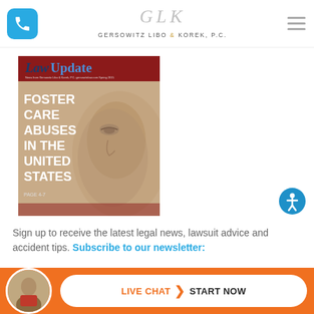GLK - Gersowitz Libo & Korek, P.C.
[Figure (photo): LawUpdate magazine cover featuring 'Foster Care Abuses in the United States, Page 4-7' with a close-up image of a crying face, dark red banner with blue and white title text]
[Figure (illustration): Circular blue accessibility icon with white person figure]
Sign up to receive the latest legal news, lawsuit advice and accident tips. Subscribe to our newsletter:
[Figure (photo): Avatar photo of a man in a suit, circular crop, in the orange live chat bottom bar]
LIVE CHAT > START NOW